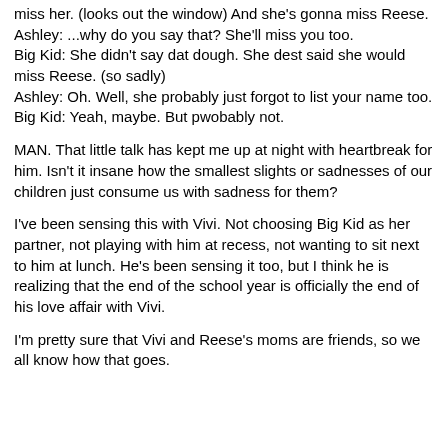miss her. (looks out the window) And she's gonna miss Reese.
Ashley: ...why do you say that? She'll miss you too.
Big Kid: She didn't say dat dough. She dest said she would miss Reese. (so sadly)
Ashley: Oh. Well, she probably just forgot to list your name too.
Big Kid: Yeah, maybe. But pwobably not.
MAN. That little talk has kept me up at night with heartbreak for him. Isn't it insane how the smallest slights or sadnesses of our children just consume us with sadness for them?
I've been sensing this with Vivi. Not choosing Big Kid as her partner, not playing with him at recess, not wanting to sit next to him at lunch. He's been sensing it too, but I think he is realizing that the end of the school year is officially the end of his love affair with Vivi.
I'm pretty sure that Vivi and Reese's moms are friends, so we all know how that goes.